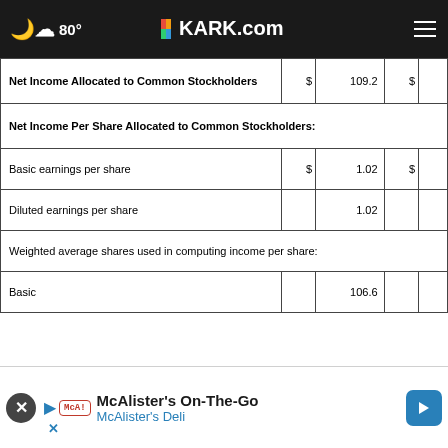☁ 80° | KARK.com
|  |  |  |  |  |
| --- | --- | --- | --- | --- |
| Net Income Allocated to Common Stockholders | $ | 109.2 | $ |  |
| Net Income Per Share Allocated to Common Stockholders: |  |  |  |  |
| Basic earnings per share | $ | 1.02 | $ |  |
| Diluted earnings per share |  | 1.02 |  |  |
| Weighted average shares used in computing income per share: |  |  |  |  |
| Basic |  | 106.6 |  |  |
| Diluted |  | 106.8 |  |  |
[Figure (screenshot): McAlister's On-The-Go advertisement banner with McAlister's Deli branding and navigation arrow icon]